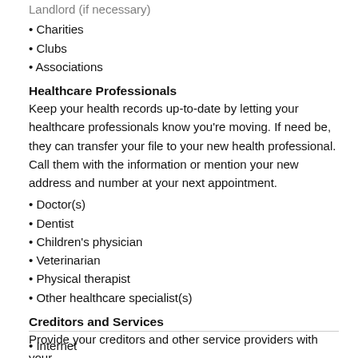Charities
Clubs
Associations
Healthcare Professionals
Keep your health records up-to-date by letting your healthcare professionals know you're moving. If need be, they can transfer your file to your new health professional. Call them with the information or mention your new address and number at your next appointment.
Doctor(s)
Dentist
Children's physician
Veterinarian
Physical therapist
Other healthcare specialist(s)
Creditors and Services
Provide your creditors and other service providers with your
Internet